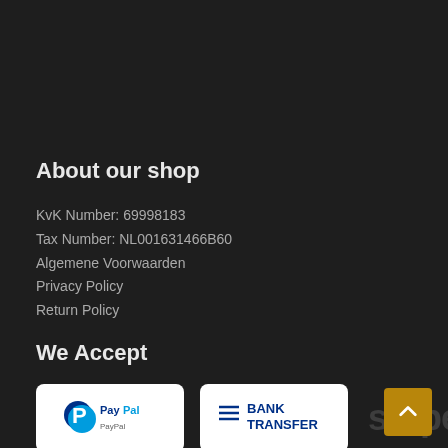About our shop
KvK Number: 69998183
Tax Number: NL001631466B60
Algemene Voorwaarden
Privacy Policy
Return Policy
We Accept
[Figure (logo): PayPal payment logo on white rounded rectangle badge]
[Figure (logo): Bank Transfer badge with blue text on white rounded rectangle]
[Figure (logo): Stripe payment logo in dark grey text]